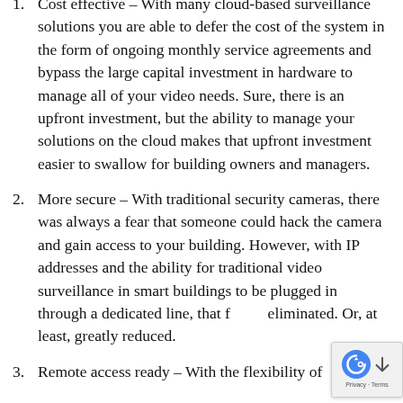1. Cost effective – With many cloud-based surveillance solutions you are able to defer the cost of the system in the form of ongoing monthly service agreements and bypass the large capital investment in hardware to manage all of your video needs. Sure, there is an upfront investment, but the ability to manage your solutions on the cloud makes that upfront investment easier to swallow for building owners and managers.
2. More secure – With traditional security cameras, there was always a fear that someone could hack the camera and gain access to your building. However, with IP addresses and the ability for traditional video surveillance in smart buildings to be plugged in through a dedicated line, that fear is eliminated. Or, at least, greatly reduced.
3. Remote access ready – With the flexibility of